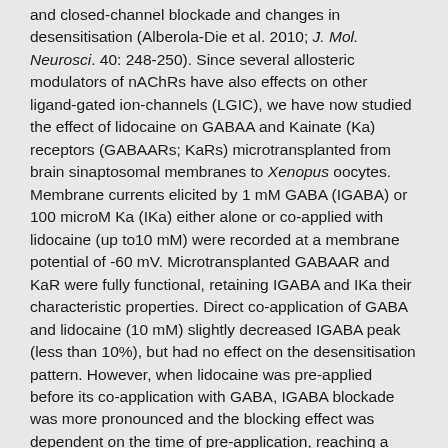and closed-channel blockade and changes in desensitisation (Alberola-Die et al. 2010; J. Mol. Neurosci. 40: 248-250). Since several allosteric modulators of nAChRs have also effects on other ligand-gated ion-channels (LGIC), we have now studied the effect of lidocaine on GABAA and Kainate (Ka) receptors (GABAARs; KaRs) microtransplanted from brain sinaptosomal membranes to Xenopus oocytes. Membrane currents elicited by 1 mM GABA (IGABA) or 100 microM Ka (IKa) either alone or co-applied with lidocaine (up to10 mM) were recorded at a membrane potential of -60 mV. Microtransplanted GABAAR and KaR were fully functional, retaining IGABA and IKa their characteristic properties. Direct co-application of GABA and lidocaine (10 mM) slightly decreased IGABA peak (less than 10%), but had no effect on the desensitisation pattern. However, when lidocaine was pre-applied before its co-application with GABA, IGABA blockade was more pronounced and the blocking effect was dependent on the time of pre-application, reaching a maximum of 30% of